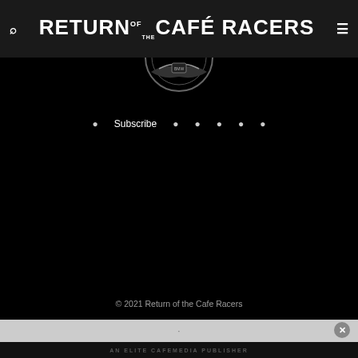RETURN OF THE CAFÉ RACERS
[Figure (logo): Partial circular logo/emblem of Return of the Cafe Racers, visible at top of black section]
Subscribe
© 2021 Return of the Cafe Racers
AN ELITE CAFEMEDIA PUBLISHER